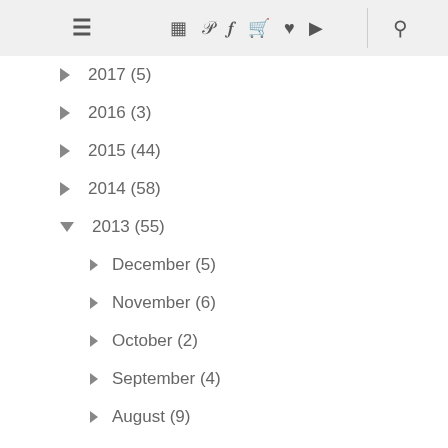≡  ⊡ p f ▣ ♥ ▶  🔍
► 2017 (5)
► 2016 (3)
► 2015 (44)
► 2014 (58)
▼ 2013 (55)
► December (5)
► November (6)
► October (2)
► September (4)
► August (9)
► July (5)
► May (2)
► April (7)
► March (3)